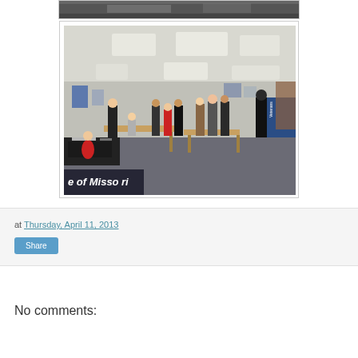[Figure (photo): Partial view of the top edge of a photo showing a dark surface with papers]
[Figure (photo): Indoor career fair or job fair scene in a room with drop ceiling fluorescent lights. People are standing and sitting around tables. A banner partially reading 'e of Missouri' is visible at the bottom left. A blue banner is on the right side.]
at Thursday, April 11, 2013
Share
No comments: